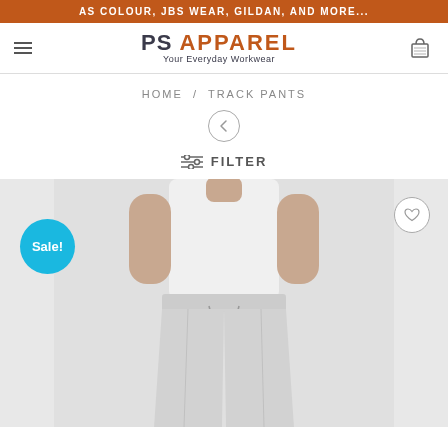AS COLOUR, JBS WEAR, GILDAN, AND MORE...
[Figure (logo): PS APPAREL logo with tagline 'Your Everyday Workwear']
HOME / TRACK PANTS
FILTER
[Figure (photo): Man wearing white t-shirt and light grey track pants/joggers with drawstring waist. Sale badge visible. Wishlist heart icon in top right corner.]